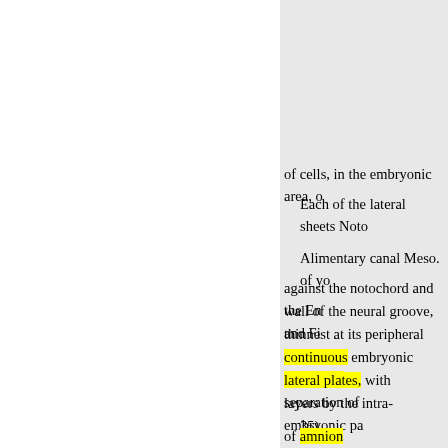of cells, in the embryonic area, o
Each of the lateral sheets Noto
Alimentary canal Meso. of yo
against the notochord and the En
wall of the neural groove, and Fi
thinnest at its peripheral intra- a
continuous embryonic mesoderm
lateral plates, with separation of
layers by the intra-embryonic pa
35).
of amnion